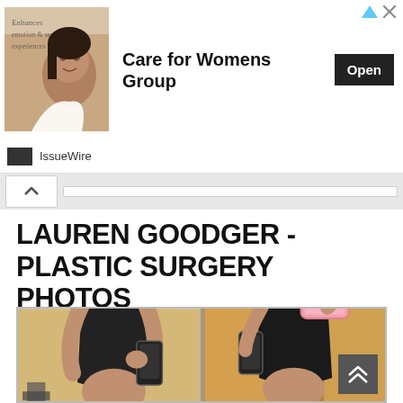[Figure (screenshot): Advertisement banner for 'Care for Womens Group' with a woman's photo on the left and an Open button]
IssueWire
LAUREN GOODGER - PLASTIC SURGERY PHOTOS
[Figure (photo): Two side-by-side mirror selfie photos of Lauren Goodger in a gym and another location, both wearing black sports bras]